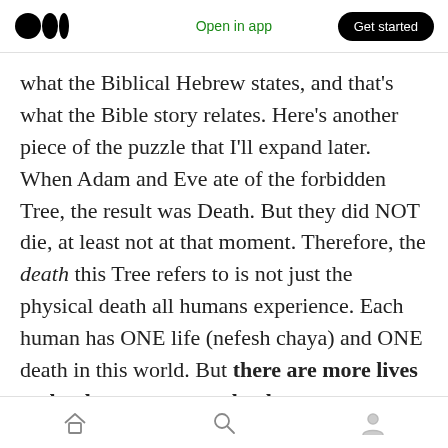Open in app | Get started
what the Biblical Hebrew states, and that's what the Bible story relates. Here's another piece of the puzzle that I'll expand later. When Adam and Eve ate of the forbidden Tree, the result was Death. But they did NOT die, at least not at that moment. Therefore, the death this Tree refers to is not just the physical death all humans experience. Each human has ONE life (nefesh chaya) and ONE death in this world. But there are more lives and at least one more death.

God's plan is stated right from the beginning.
Home | Search | Profile